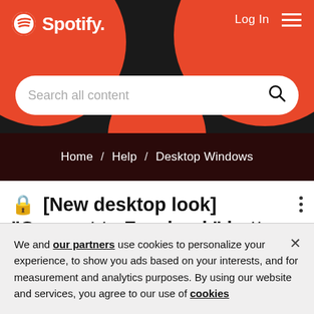[Figure (screenshot): Spotify website header with red and black background, Spotify logo top left, Log In and hamburger menu top right, search bar with 'Search all content' placeholder]
Home / Help / Desktop Windows
🔒 [New desktop look] "Connect to Facebook" button only visible in
We and our partners use cookies to personalize your experience, to show you ads based on your interests, and for measurement and analytics purposes. By using our website and services, you agree to our use of cookies as described in our Cookie Policy.